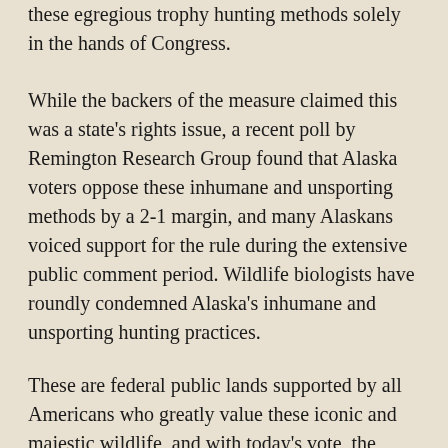these egregious trophy hunting methods solely in the hands of Congress.
While the backers of the measure claimed this was a state's rights issue, a recent poll by Remington Research Group found that Alaska voters oppose these inhumane and unsporting methods by a 2-1 margin, and many Alaskans voiced support for the rule during the extensive public comment period. Wildlife biologists have roundly condemned Alaska's inhumane and unsporting hunting practices.
These are federal public lands supported by all Americans who greatly value these iconic and majestic wildlife, and with today's vote, the Senate undid a rule years in the works that was launched by professional wildlife scientists at the U.S. Fish and Wildlife Service. The practices in question are disallowed in almost every state, yet Congress has made it clear these inhumane practices will once again be used in national wildlife refuges in Alaska – the one category of federal lands specifically created to protect wildlife and